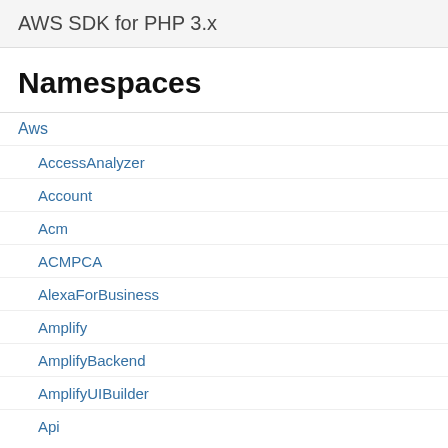AWS SDK for PHP 3.x
Namespaces
Aws
AccessAnalyzer
Account
Acm
ACMPCA
AlexaForBusiness
Amplify
AmplifyBackend
AmplifyUIBuilder
Api
ApiGateway
ApiGatewayManagementApi
NONE
This name
For example, if path namespaceType is s set to MyArtifact. stored in MyArtifacts/<bu
overrideArtifactName
Type: boolean
If this flag is set, a m buildspec file overri